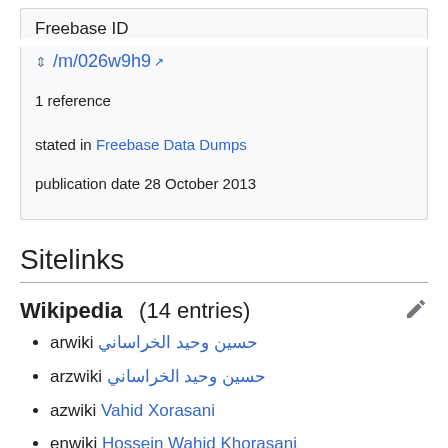Freebase ID
/m/026w9h9 [external link]
1 reference
stated in Freebase Data Dumps
publication date 28 October 2013
Sitelinks
Wikipedia (14 entries)
arwiki حسين وحيد الخراساني
arzwiki حسين وحيد الخراساني
azwiki Vahid Xorasani
enwiki Hossein Wahid Khorasani
fawiki حسین وحید خراسانی
frwiki Hosein Vahid Khorasani